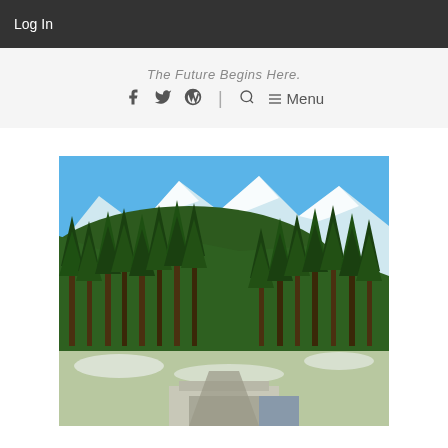Log In
The Future Begins Here.
Social icons: Facebook, Twitter, WordPress | Search ☰ Menu
[Figure (photo): Mountain landscape with dense pine/fir forest, snow-capped peaks under a bright blue sky, and a valley with snow patches and a concrete structure at the bottom.]